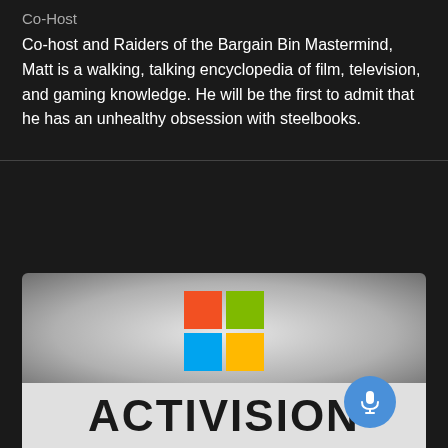Co-Host
Co-host and Raiders of the Bargain Bin Mastermind, Matt is a walking, talking encyclopedia of film, television, and gaming knowledge. He will be the first to admit that he has an unhealthy obsession with steelbooks.
[Figure (logo): Microsoft logo (four colored squares: red, green, blue, yellow) above the Activision wordmark on a grey gradient background]